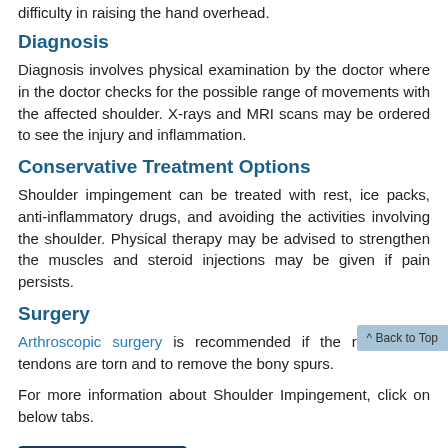difficulty in raising the hand overhead.
Diagnosis
Diagnosis involves physical examination by the doctor where in the doctor checks for the possible range of movements with the affected shoulder. X-rays and MRI scans may be ordered to see the injury and inflammation.
Conservative Treatment Options
Shoulder impingement can be treated with rest, ice packs, anti-inflammatory drugs, and avoiding the activities involving the shoulder. Physical therapy may be advised to strengthen the muscles and steroid injections may be given if pain persists.
Surgery
Arthroscopic surgery is recommended if the rotator cuff tendons are torn and to remove the bony spurs.
For more information about Shoulder Impingement, click on below tabs.
Print Version